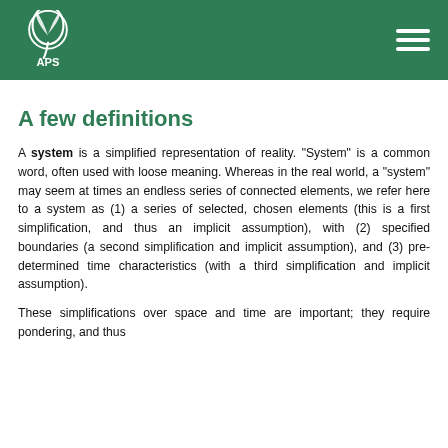APS
A few definitions
A system is a simplified representation of reality. "System" is a common word, often used with loose meaning. Whereas in the real world, a "system" may seem at times an endless series of connected elements, we refer here to a system as (1) a series of selected, chosen elements (this is a first simplification, and thus an implicit assumption), with (2) specified boundaries (a second simplification and implicit assumption), and (3) pre-determined time characteristics (with a third simplification and implicit assumption).
These simplifications over space and time are important; they require pondering, and thus